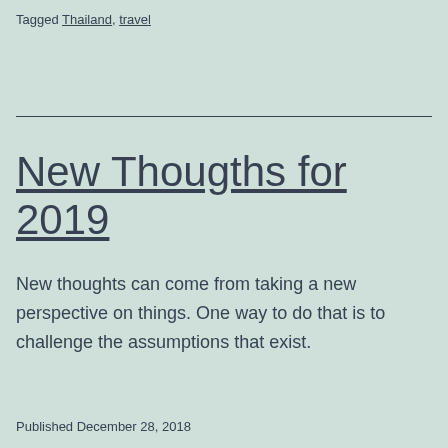Tagged Thailand, travel
New Thougths for 2019
New thoughts can come from taking a new perspective on things. One way to do that is to challenge the assumptions that exist.
Published December 28, 2018